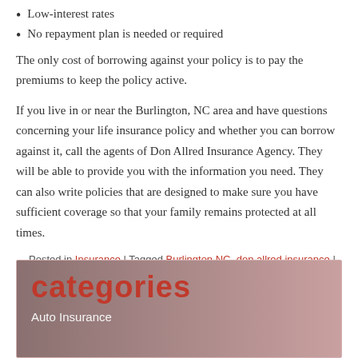Low-interest rates
No repayment plan is needed or required
The only cost of borrowing against your policy is to pay the premiums to keep the policy active.
If you live in or near the Burlington, NC area and have questions concerning your life insurance policy and whether you can borrow against it, call the agents of Don Allred Insurance Agency. They will be able to provide you with the information you need. They can also write policies that are designed to make sure you have sufficient coverage so that your family remains protected at all times.
Posted in Insurance | Tagged Burlington NC, don allred insurance |
categories
Auto Insurance